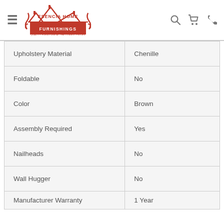Esencia Home Furnishings
| Upholstery Material | Chenille |
| Foldable | No |
| Color | Brown |
| Assembly Required | Yes |
| Nailheads | No |
| Wall Hugger | No |
| Manufacturer Warranty | 1 Year |